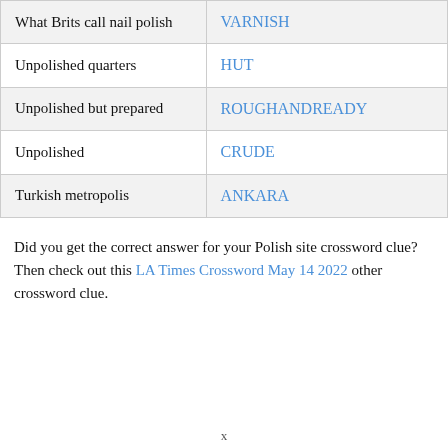| Clue | Answer |
| --- | --- |
| What Brits call nail polish | VARNISH |
| Unpolished quarters | HUT |
| Unpolished but prepared | ROUGHANDREADY |
| Unpolished | CRUDE |
| Turkish metropolis | ANKARA |
Did you get the correct answer for your Polish site crossword clue? Then check out this LA Times Crossword May 14 2022 other crossword clue.